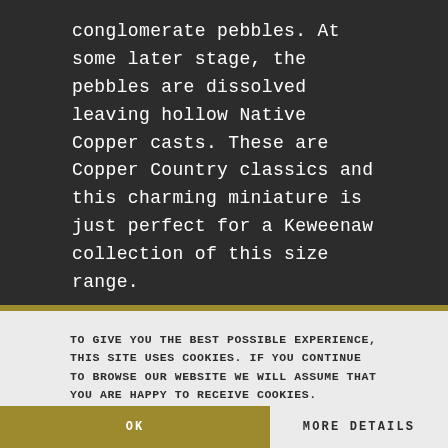conglomerate pebbles. At some later stage, the pebbles are dissolved leaving hollow Native Copper casts. These are Copper Country classics and this charming miniature is just perfect for a Keweenaw collection of this size range.
From the Julcani District of Peru, take a look at a lovely combination of Fluorapatite crystals on Tetrahedrite and Galena. White crystals of prismatic Fluorapatite measuring to 2 cm terminated mild
TO GIVE YOU THE BEST POSSIBLE EXPERIENCE, THIS SITE USES COOKIES. IF YOU CONTINUE TO BROWSE OUR WEBSITE WE WILL ASSUME THAT YOU ARE HAPPY TO RECEIVE COOKIES.
OK
MORE DETAILS